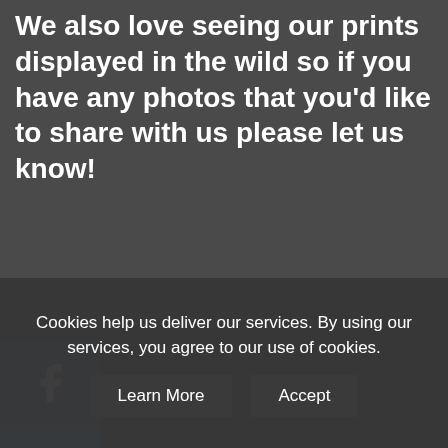We also love seeing our prints displayed in the wild so if you have any photos that you'd like to share with us please let us know!
[Figure (screenshot): Social media share sidebar with Facebook, Twitter, Pinterest, Tumblr, and ShareThis buttons]
Customer Reviews
Cookies help us deliver our services. By using our services, you agree to our use of cookies.